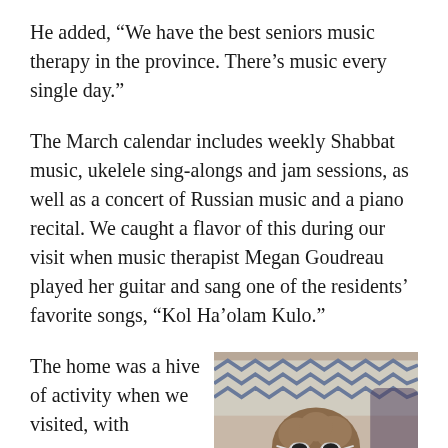He added, “We have the best seniors music therapy in the province. There’s music every single day.”
The March calendar includes weekly Shabbat music, ukelele sing-alongs and jam sessions, as well as a concert of Russian music and a piano recital. We caught a flavor of this during our visit when music therapist Megan Goudreau played her guitar and sang one of the residents’ favorite songs, “Kol Ha’olam Kulo.”
The home was a hive of activity when we visited, with youngsters volunteering, residents –
[Figure (photo): A small fluffy brown dog wearing white sunglasses and a green beaded necklace, sitting indoors with a patterned fabric background.]